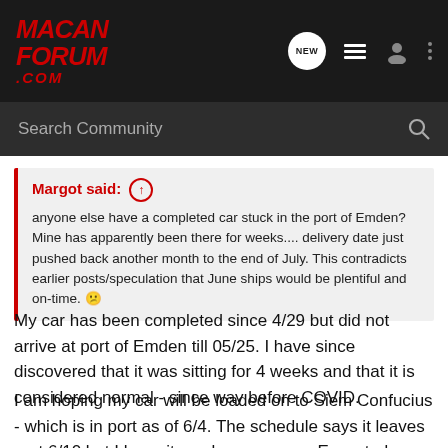MacanForum.com
Search Community
Margot said: ↑
anyone else have a completed car stuck in the port of Emden? Mine has apparently been there for weeks.... delivery date just pushed back another month to the end of July. This contradicts earlier posts/speculation that June ships would be plentiful and on-time. ☹
My car has been completed since 4/29 but did not arrive at port of Emden till 05/25. I have since discovered that it was sitting for 4 weeks and that it is considered normal - since way before COVID.
I am hoping my car will be loaded on to Siem Confucius - which is in port as of 6/4. The schedule says it leaves port 6/10 but I hope it can leave sooner. Expected arrival in FL 06/24. My delivery date moved from 06/24 to 7/10 in the last week. The